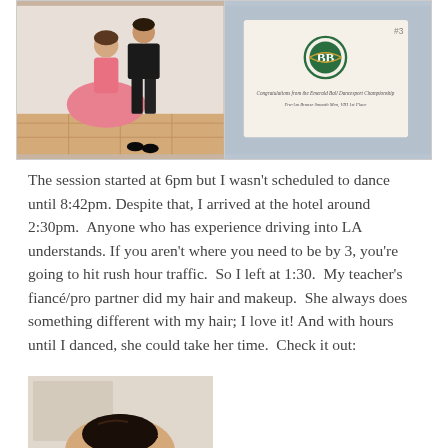[Figure (photo): Two side-by-side photos: left shows a couple at a dance competition, woman in pink dress and man in black suit; right shows a congratulations card with a green logo and text about a championship, 1st place.]
The session started at 6pm but I wasn't scheduled to dance until 8:42pm. Despite that, I arrived at the hotel around 2:30pm.  Anyone who has experience driving into LA understands. If you aren't where you need to be by 3, you're going to hit rush hour traffic.  So I left at 1:30.  My teacher's fiancé/pro partner did my hair and makeup.  She always does something different with my hair; I love it! And with hours until I danced, she could take her time.  Check it out:
[Figure (photo): Bottom partial photo showing top of a person's head with dark hair styled up, taken from behind.]